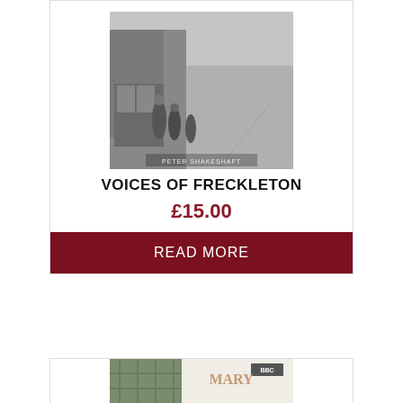[Figure (photo): Book cover for 'Voices of Freckleton' — black and white photograph of a street scene with people standing outside a shop, historical photo, author name Peter Shakeshaft at bottom]
VOICES OF FRECKLETON
£15.00
READ MORE
[Figure (photo): Book cover for 'Mary Berry Simple Comforts' — BBC branded cookbook showing Mary Berry seated in a kitchen wearing a white jumper, with green tiled background, published by BBC]